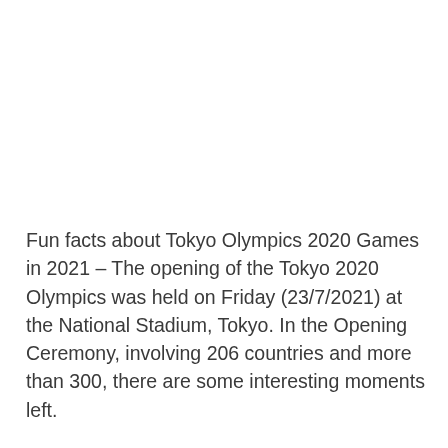Fun facts about Tokyo Olympics 2020 Games in 2021 – The opening of the Tokyo 2020 Olympics was held on Friday (23/7/2021) at the National Stadium, Tokyo. In the Opening Ceremony, involving 206 countries and more than 300, there are some interesting moments left.